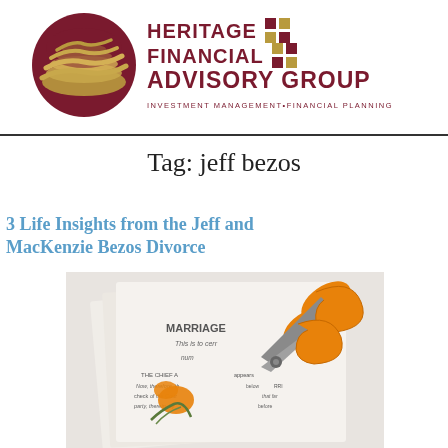[Figure (logo): Heritage Financial Advisory Group logo with circular emblem featuring dark red and gold wave design on left, and company name text with grid squares on right]
Tag: jeff bezos
3 Life Insights from the Jeff and MacKenzie Bezos Divorce
[Figure (photo): Orange scissors cutting through a marriage certificate document, with a small orange flower and twig beside it, on a light background]